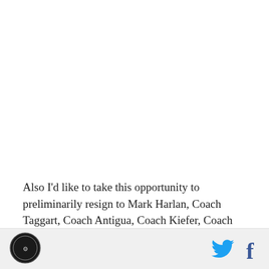Also I'd like to take this opportunity to preliminarily resign to Mark Harlan, Coach Taggart, Coach Antigua, Coach Kiefer, Coach Prado, Coach Eriksen, Coach Fernandez, Coach Draper, and everyone else because of something I'll write on Twitter eventually. That will be
[Figure (logo): Circular sports logo in footer bar, dark background with emblem]
[Figure (logo): Twitter bird icon and Facebook f icon in footer bar]